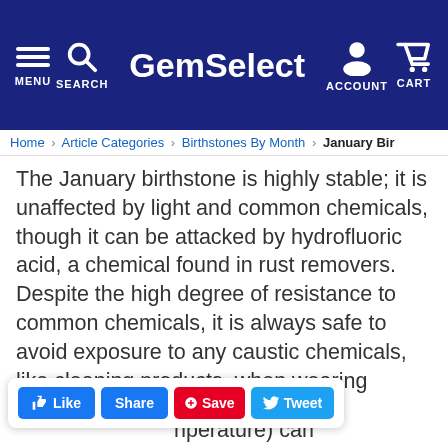GemSelect — MENU, SEARCH, ACCOUNT, CART
Home / Article Categories / Birthstones By Month / January Bir...
The January birthstone is highly stable; it is unaffected by light and common chemicals, though it can be attacked by hydrofluoric acid, a chemical found in rust removers. Despite the high degree of resistance to common chemicals, it is always safe to avoid exposure to any caustic chemicals, like cleaning products, when wearing jewelry of any kind.
As with any crystal structure - garnet included - high temperatures and thermal ... (temperature) can ...